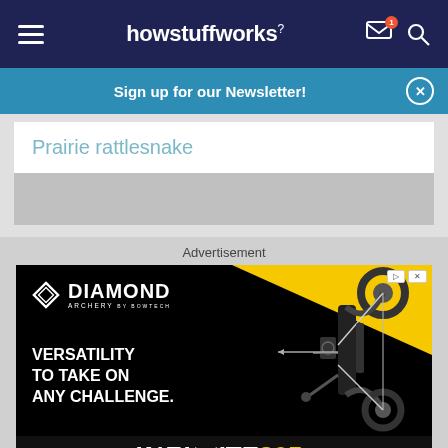howstuffworks
Sign up for our Newsletter!
Prairie rattlesnake
Advertisement
[Figure (screenshot): Diamond Archery advertisement showing a compound bow with text: VERSATILITY TO TAKE ON ANY CHALLENGE. INFINITE 305]